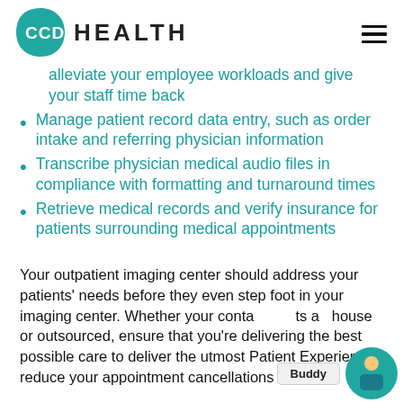CCD HEALTH
alleviate your employee workloads and give your staff time back
Manage patient record data entry, such as order intake and referring physician information
Transcribe physician medical audio files in compliance with formatting and turnaround times
Retrieve medical records and verify insurance for patients surrounding medical appointments
Your outpatient imaging center should address your patients' needs before they even step foot in your imaging center. Whether your contact agents are in house or outsourced, ensure that you're delivering the best possible care to deliver the utmost Patient Experience, reduce your appointment cancellations